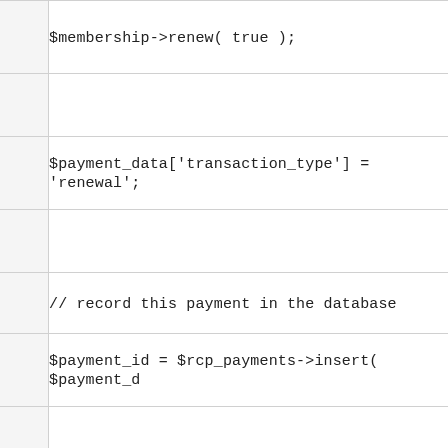$membership->renew( true );
$payment_data['transaction_type'] = 'renewal';
// record this payment in the database
$payment_id = $rcp_payments->insert( $payment_d
do_action( 'rcp_ipn_subscr_payment', $user_id );